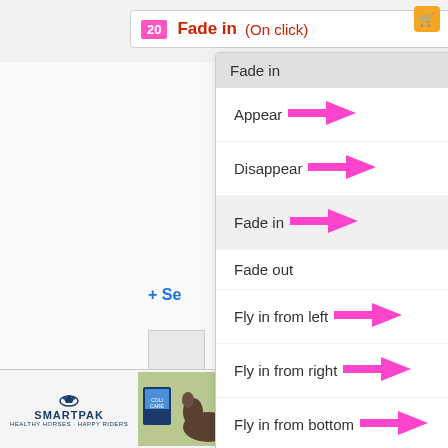[Figure (screenshot): Screenshot of a UI showing an animation dropdown menu with options: Appear, Disappear, Fade in (selected/highlighted), Fade out, Fly in from left, Fly in from right, Fly in from bottom, Fly in from top, Fly out to left, Fly out to right. Pink arrows point to Appear, Disappear, Fade in, Fly in from left, Fly in from right, Fly in from bottom, and Fly in from top. The top bar shows 'Fade in (On click)' label. An advertisement banner for SmartPak ColiCare supplement appears at the bottom.]